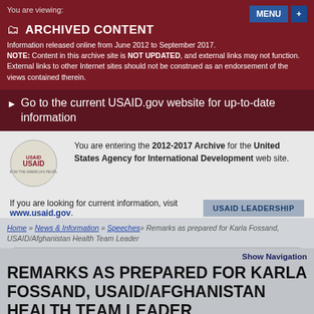You are viewing:
ARCHIVED CONTENT
Information released online from June 2012 to September 2017. NOTE: Content in this archive site is NOT UPDATED, and external links may not function. External links to other Internet sites should not be construed as an endorsement of the views contained therein.
Go to the current USAID.gov website for up-to-date information
You are entering the 2012-2017 Archive for the United States Agency for International Development web site.
If you are looking for current information, visit www.usaid.gov.
USAID LEADERSHIP
Home » News & Information » Speeches » Remarks as prepared for Karla Fossand, USAID/Afghanistan Health Team Leader
Show Navigation
REMARKS AS PREPARED FOR KARLA FOSSAND, USAID/AFGHANISTAN HEALTH TEAM LEADER